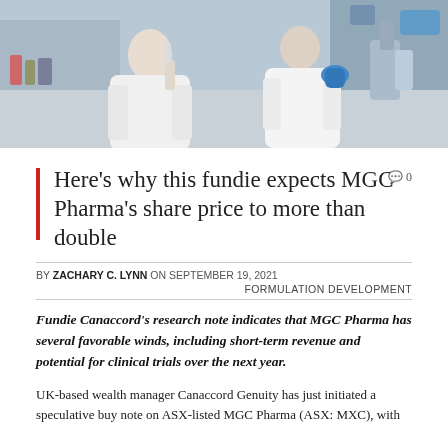[Figure (photo): Two scientists in white lab coats working in a laboratory setting]
Here's why this fundie expects MGC Pharma's share price to more than double
BY ZACHARY C. LYNN ON SEPTEMBER 19, 2021
FORMULATION DEVELOPMENT
Fundie Canaccord's research note indicates that MGC Pharma has several favorable winds, including short-term revenue and potential for clinical trials over the next year.
UK-based wealth manager Canaccord Genuity has just initiated a speculative buy note on ASX-listed MGC Pharma (ASX: MXC), with